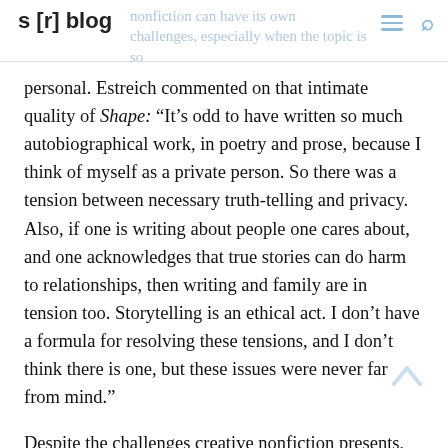s [r] blog
nonfiction can have its own challenges, especially when the topic is so personal. Estreich commented on that intimate quality of Shape: “It’s odd to have written so much autobiographical work, in poetry and prose, because I think of myself as a private person. So there was a tension between necessary truth-telling and privacy. Also, if one is writing about people one cares about, and one acknowledges that true stories can do harm to relationships, then writing and family are in tension too. Storytelling is an ethical act. I don’t have a formula for resolving these tensions, and I don’t think there is one, but these issues were never far from mind.”
Despite the challenges creative nonfiction presents, Estriech found that, “in writing